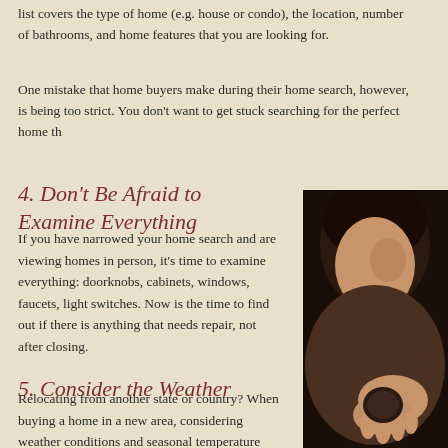list covers the type of home (e.g. house or condo), the location, number of bathrooms, and home features that you are looking for.
One mistake that home buyers make during their home search, however, is being too strict. You don't want to get stuck searching for the perfect home th...
4. Don't Be Afraid to Examine Everything
If you have narrowed your home search and are viewing homes in person, it's time to examine everything: doorknobs, cabinets, windows, faucets, light switches. Now is the time to find out if there is anything that needs repair, not after closing.
5. Consider the Weather
Relocating from another state or country? When buying a home in a new area, considering weather conditions and seasonal temperature changes is important.
[Figure (photo): Photo of a person examining a home, partial view showing face and hand, dark hair visible, against warm-toned background]